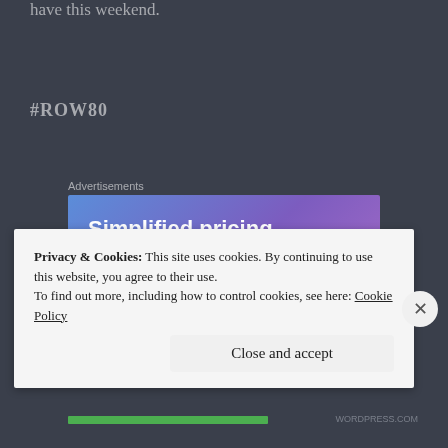have this weekend.
#ROW80
Advertisements
[Figure (other): Advertisement banner: 'Simplified pricing for everything you need.' with a pink 'Build Your Website' button and a price tag icon on a blue-purple gradient background]
Privacy & Cookies: This site uses cookies. By continuing to use this website, you agree to their use.
To find out more, including how to control cookies, see here: Cookie Policy
Close and accept